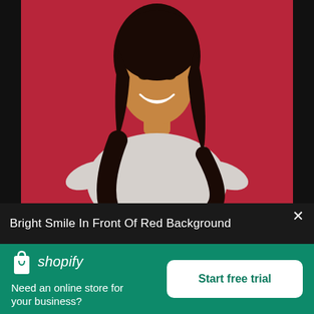[Figure (photo): A smiling young woman with long dark hair wearing a light grey sweatshirt, posed in front of a red background.]
Bright Smile In Front Of Red Background
[Figure (logo): Shopify logo: shopping bag icon with 'shopify' in italic white text]
Need an online store for your business?
Start free trial